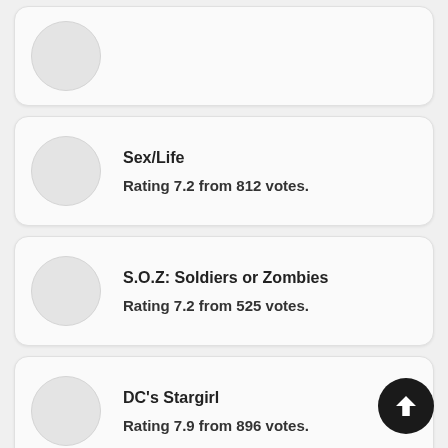Sex/Life — Rating 7.2 from 812 votes.
S.O.Z: Soldiers or Zombies — Rating 7.2 from 525 votes.
DC's Stargirl — Rating 7.9 from 896 votes.